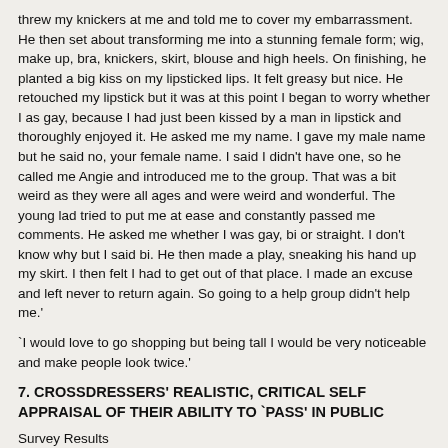threw my knickers at me and told me to cover my embarrassment. He then set about transforming me into a stunning female form; wig, make up, bra, knickers, skirt, blouse and high heels. On finishing, he planted a big kiss on my lipsticked lips. It felt greasy but nice. He retouched my lipstick but it was at this point I began to worry whether I as gay, because I had just been kissed by a man in lipstick and thoroughly enjoyed it. He asked me my name. I gave my male name but he said no, your female name. I said I didn't have one, so he called me Angie and introduced me to the group. That was a bit weird as they were all ages and were weird and wonderful. The young lad tried to put me at ease and constantly passed me comments. He asked me whether I was gay, bi or straight. I don't know why but I said bi. He then made a play, sneaking his hand up my skirt. I then felt I had to get out of that place. I made an excuse and left never to return again. So going to a help group didn't help me.'
`I would love to go shopping but being tall I would be very noticeable and make people look twice.'
7. CROSSDRESSERS' REALISTIC, CRITICAL SELF APPRAISAL OF THEIR ABILITY TO `PASS' IN PUBLIC
Survey Results
Question asked: If you go out crossdressed, in your opinion, how many of the people who see you are convinced that you are a woman?
a) none